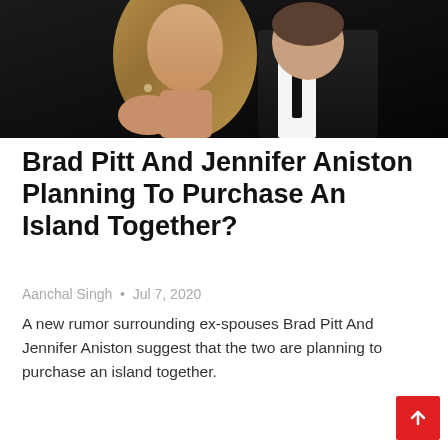[Figure (photo): Photo of a woman with long blonde hair and a man in a dark tuxedo, posing together against a dark background.]
Brad Pitt And Jennifer Aniston Planning To Purchase An Island Together?
Aanchal Singh  •  Jul 7, 2020
A new rumor surrounding ex-spouses Brad Pitt And Jennifer Aniston suggest that the two are planning to purchase an island together.